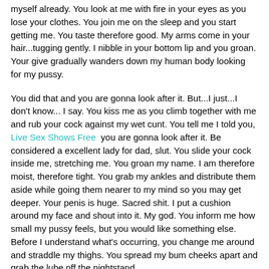myself already. You look at me with fire in your eyes as you lose your clothes. You join me on the sleep and you start getting me. You taste therefore good. My arms come in your hair...tugging gently. I nibble in your bottom lip and you groan. Your give gradually wanders down my human body looking for my pussy.
You did that and you are gonna look after it. But...I just...I don't know... I say. You kiss me as you climb together with me and rub your cock against my wet cunt. You tell me I told you, Live Sex Shows Free you are gonna look after it. Be considered a excellent lady for dad, slut. You slide your cock inside me, stretching me. You groan my name. I am therefore moist, therefore tight. You grab my ankles and distribute them aside while going them nearer to my mind so you may get deeper. Your penis is huge. Sacred shit. I put a cushion around my face and shout into it. My god. You inform me how small my pussy feels, but you would like something else. Before I understand what's occurring, you change me around and straddle my thighs. You spread my bum cheeks apart and grab the lube off the nightstand.